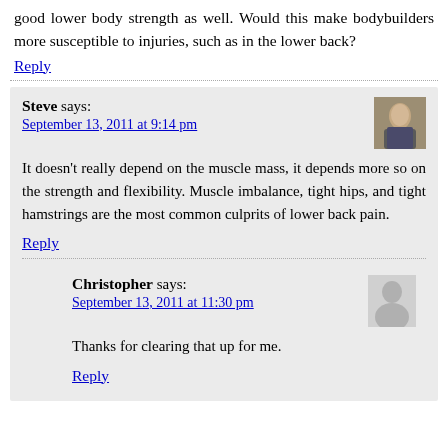good lower body strength as well. Would this make bodybuilders more susceptible to injuries, such as in the lower back?
Reply
Steve says: September 13, 2011 at 9:14 pm
It doesn't really depend on the muscle mass, it depends more so on the strength and flexibility. Muscle imbalance, tight hips, and tight hamstrings are the most common culprits of lower back pain.
Reply
Christopher says: September 13, 2011 at 11:30 pm
Thanks for clearing that up for me.
Reply